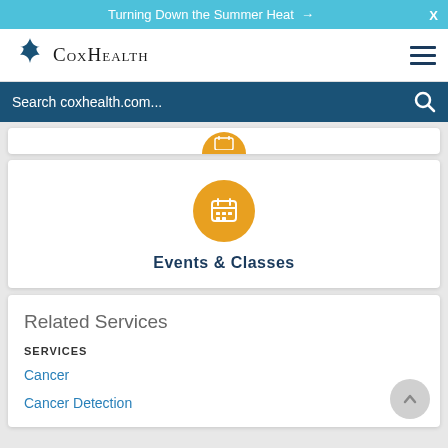Turning Down the Summer Heat →
[Figure (logo): CoxHealth logo with four-pointed star]
Search coxhealth.com...
[Figure (illustration): Partially visible orange circle icon (calendar) at top of card]
[Figure (illustration): Orange circle with white calendar icon for Events & Classes]
Events & Classes
Related Services
SERVICES
Cancer
Cancer Detection